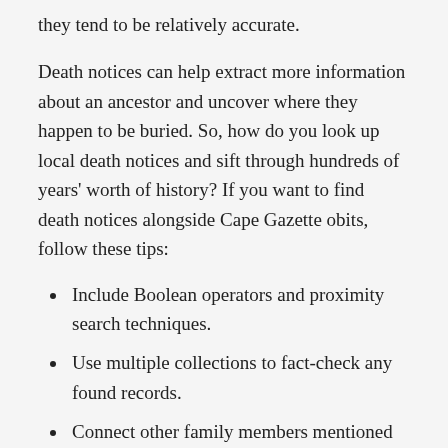they tend to be relatively accurate.
Death notices can help extract more information about an ancestor and uncover where they happen to be buried. So, how do you look up local death notices and sift through hundreds of years' worth of history? If you want to find death notices alongside Cape Gazette obits, follow these tips:
Include Boolean operators and proximity search techniques.
Use multiple collections to fact-check any found records.
Connect other family members mentioned in the death notice to confirm whole sections of your family tree.
The Cape Gazette...